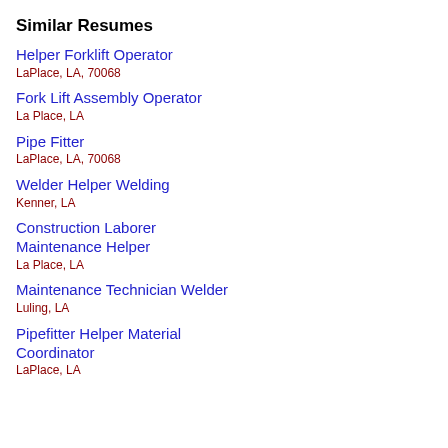Similar Resumes
Helper Forklift Operator
LaPlace, LA, 70068
Fork Lift Assembly Operator
La Place, LA
Pipe Fitter
LaPlace, LA, 70068
Welder Helper Welding
Kenner, LA
Construction Laborer Maintenance Helper
La Place, LA
Maintenance Technician Welder
Luling, LA
Pipefitter Helper Material Coordinator
LaPlace, LA